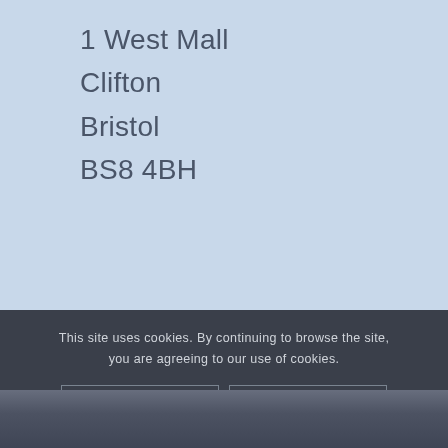1 West Mall
Clifton
Bristol
BS8 4BH
This site uses cookies. By continuing to browse the site, you are agreeing to our use of cookies.
OK
Privacy Policy